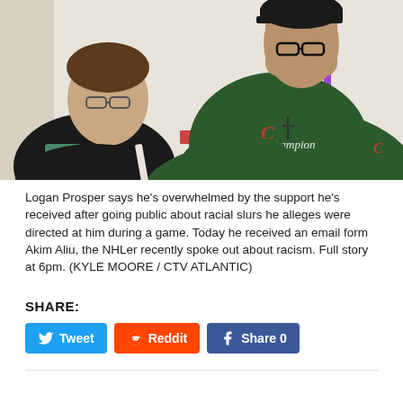[Figure (photo): Two people in a classroom setting. A woman with glasses sits in the background wearing a black top. A young man in a dark green Champion t-shirt and baseball cap with glasses sits in the foreground looking down at something.]
Logan Prosper says he's overwhelmed by the support he's received after going public about racial slurs he alleges were directed at him during a game. Today he received an email form Akim Aliu, the NHLer recently spoke out about racism. Full story at 6pm. (KYLE MOORE / CTV ATLANTIC)
SHARE:
Tweet | Reddit | Share 0